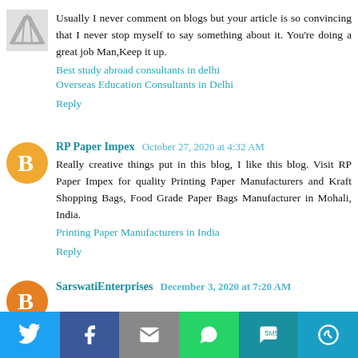Usually I never comment on blogs but your article is so convincing that I never stop myself to say something about it. You're doing a great job Man,Keep it up.
Best study abroad consultants in delhi
Overseas Education Consultants in Delhi
Reply
RP Paper Impex  October 27, 2020 at 4:32 AM
Really creative things put in this blog, I like this blog. Visit RP Paper Impex for quality Printing Paper Manufacturers and Kraft Shopping Bags, Food Grade Paper Bags Manufacturer in Mohali, India.
Printing Paper Manufacturers in India
Reply
SarswatiEnterprises  December 3, 2020 at 7:20 AM